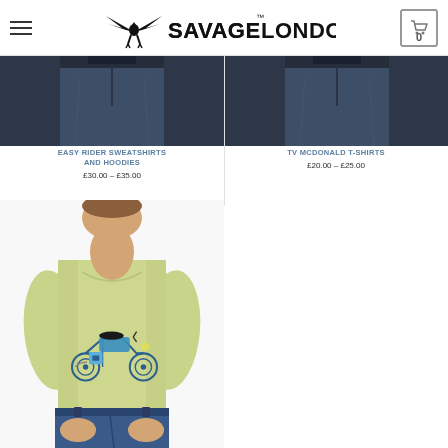Savage London
[Figure (photo): Dark denim jeans product image for Easy Rider Sweatshirts and Hoodies]
EASY RIDER SWEATSHIRTS AND HOODIES
£30.00 – £35.00
[Figure (photo): Dark denim jeans product image for TV McDonald T-Shirts]
TV MCDONALD T-SHIRTS
£20.00 – £25.00
[Figure (photo): Person wearing a light yellow-green t-shirt with a blue vintage motorcycle graphic on the chest, wearing blue jeans]